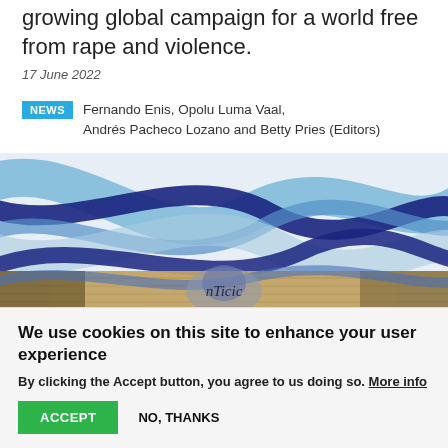growing global campaign for a world free from rape and violence.
17 June 2022
Fernando Enis, Opolu Luma Vaal, Andrés Pacheco Lozano and Betty Pries (Editors)
[Figure (illustration): Decorative image with interweaving blue wave ribbons and a mosaic or textured graphic at the bottom center with stylized text 'nTicic'.]
We use cookies on this site to enhance your user experience
By clicking the Accept button, you agree to us doing so. More info
ACCEPT
NO, THANKS